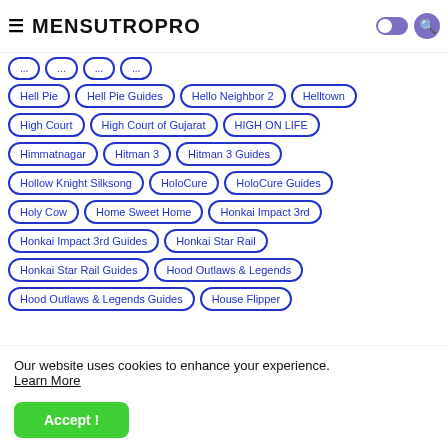≡ MENSUTROPRO
Hell Pie
Hell Pie Guides
Hello Neighbor 2
Helltown
High Court
High Court of Gujarat
HIGH ON LIFE
Himmatnagar
Hitman 3
Hitman 3 Guides
Hollow Knight Silksong
HoloCure
HoloCure Guides
Holy Cow
Home Sweet Home
Honkai Impact 3rd
Honkai Impact 3rd Guides
Honkai Star Rail
Honkai Star Rail Guides
Hood Outlaws & Legends
Hood Outlaws & Legends Guides
House Flipper
Our website uses cookies to enhance your experience. Learn More
Accept !